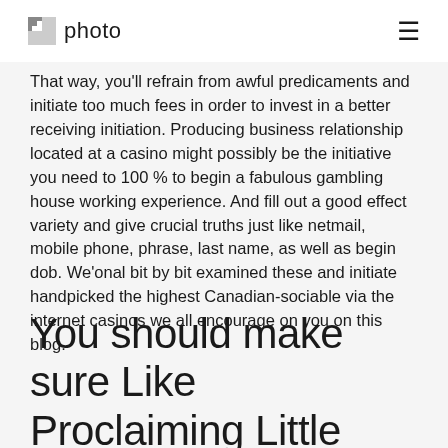photo
That way, you'll refrain from awful predicaments and initiate too much fees in order to invest in a better receiving initiation. Producing business relationship located at a casino might possibly be the initiative you need to 100 % to begin a fabulous gambling house working experience. And fill out a good effect variety and give crucial truths just like netmail, mobile phone, phrase, last name, as well as begin dob. We'onal bit by bit examined these and initiate handpicked the highest Canadian-sociable via the internet casinos we all encourage on you on this blog.
You should make sure Like Proclaiming Little